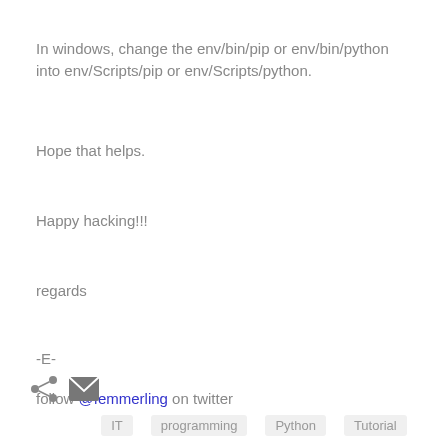In windows, change the env/bin/pip or env/bin/python into env/Scripts/pip or env/Scripts/python.
Hope that helps.
Happy hacking!!!
regards
-E-
follow @femmerling on twitter
[Figure (infographic): Share icon (angle-bracket with dots) and email envelope icon]
IT   programming   Python   Tutorial